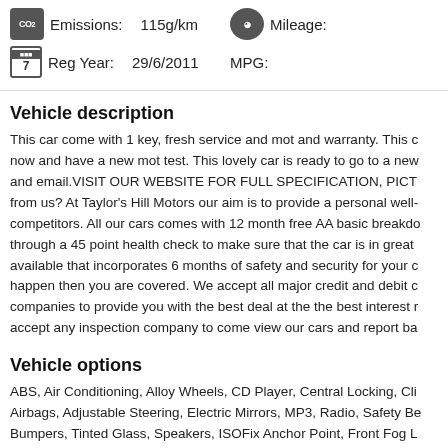Emissions: 115g/km   Mileage:
Reg Year: 29/6/2011   MPG:
Vehicle description
This car come with 1 key, fresh service and mot and warranty. This c... now and have a new mot test. This lovely car is ready to go to a new... and email.VISIT OUR WEBSITE FOR FULL SPECIFICATION, PICT... from us? At Taylor's Hill Motors our aim is to provide a personal well-... competitors. All our cars comes with 12 month free AA basic breakdo... through a 45 point health check to make sure that the car is in great ... available that incorporates 6 months of safety and security for your c... happen then you are covered. We accept all major credit and debit c... companies to provide you with the best deal at the the best interest r... accept any inspection company to come view our cars and report ba...
Vehicle options
ABS, Air Conditioning, Alloy Wheels, CD Player, Central Locking, Cli... Airbags, Adjustable Steering, Electric Mirrors, MP3, Radio, Safety Be... Bumpers, Tinted Glass, Speakers, ISOFix Anchor Point, Front Fog L...